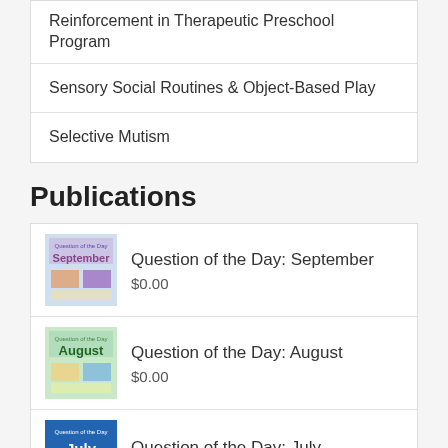Reinforcement in Therapeutic Preschool Program
Sensory Social Routines & Object-Based Play
Selective Mutism
Publications
[Figure (photo): Thumbnail image for Question of the Day September publication]
Question of the Day: September
$0.00
[Figure (photo): Thumbnail image for Question of the Day August publication]
Question of the Day: August
$0.00
[Figure (photo): Thumbnail image for Question of the Day July publication]
Question of the Day: July